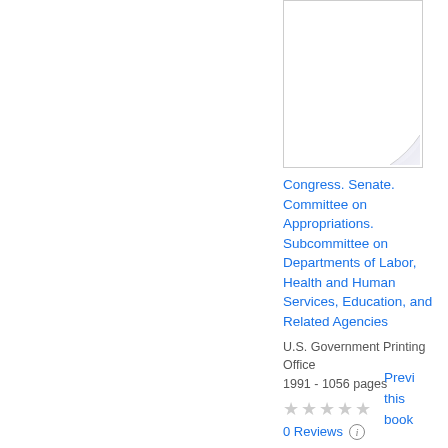[Figure (illustration): Book cover thumbnail with page curl effect at bottom right corner]
Congress. Senate. Committee on Appropriations. Subcommittee on Departments of Labor, Health and Human Services, Education, and Related Agencies
U.S. Government Printing Office
1991 - 1056 pages
★★★★★
0 Reviews
Preview this book